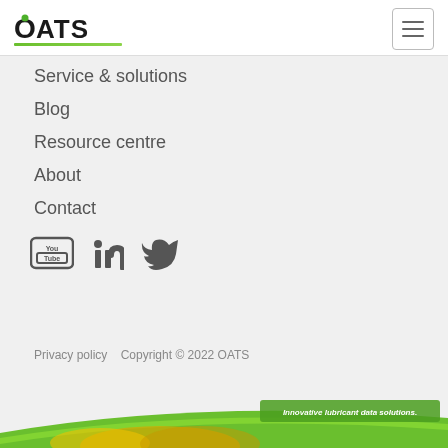OATS
Service & solutions
Blog
Resource centre
About
Contact
[Figure (illustration): Social media icons: YouTube, LinkedIn, Twitter]
Privacy policy   Copyright © 2022 OATS
[Figure (photo): Bottom banner showing lubricant oil splash with text 'Innovative lubricant data solutions.' on a green curved banner]